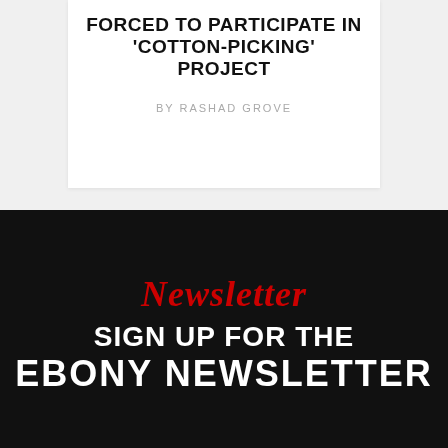FORCED TO PARTICIPATE IN 'COTTON-PICKING' PROJECT
BY RASHAD GROVE
Newsletter
SIGN UP FOR THE EBONY NEWSLETTER